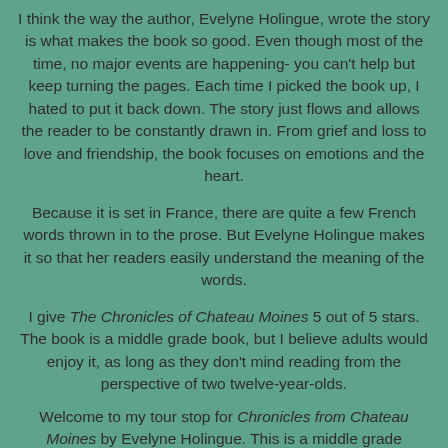I think the way the author, Evelyne Holingue, wrote the story is what makes the book so good. Even though most of the time, no major events are happening- you can't help but keep turning the pages. Each time I picked the book up, I hated to put it back down. The story just flows and allows the reader to be constantly drawn in. From grief and loss to love and friendship, the book focuses on emotions and the heart.
Because it is set in France, there are quite a few French words thrown in to the prose. But Evelyne Holingue makes it so that her readers easily understand the meaning of the words.
I give The Chronicles of Chateau Moines 5 out of 5 stars. The book is a middle grade book, but I believe adults would enjoy it, as long as they don't mind reading from the perspective of two twelve-year-olds.
Welcome to my tour stop for Chronicles from Chateau Moines by Evelyne Holingue. This is a middle grade historical fiction. The tour